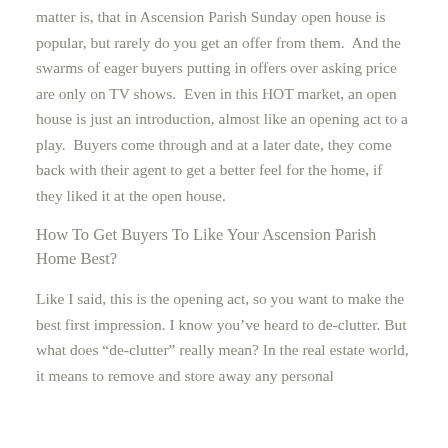matter is, that in Ascension Parish Sunday open house is popular, but rarely do you get an offer from them.  And the swarms of eager buyers putting in offers over asking price are only on TV shows.  Even in this HOT market, an open house is just an introduction, almost like an opening act to a play.  Buyers come through and at a later date, they come back with their agent to get a better feel for the home, if they liked it at the open house.
How To Get Buyers To Like Your Ascension Parish Home Best?
Like I said, this is the opening act, so you want to make the best first impression. I know you've heard to de-clutter. But what does “de-clutter” really mean? In the real estate world, it means to remove and store away any personal